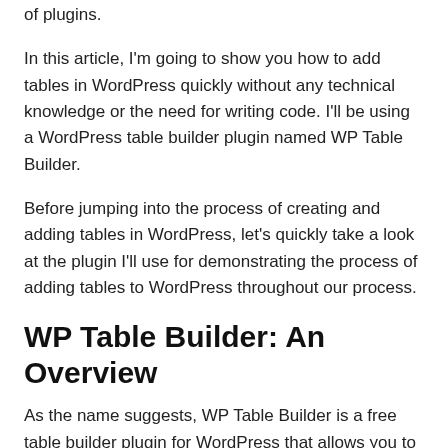of plugins.
In this article, I'm going to show you how to add tables in WordPress quickly without any technical knowledge or the need for writing code. I'll be using a WordPress table builder plugin named WP Table Builder.
Before jumping into the process of creating and adding tables in WordPress, let's quickly take a look at the plugin I'll use for demonstrating the process of adding tables to WordPress throughout our process.
WP Table Builder: An Overview
As the name suggests, WP Table Builder is a free table builder plugin for WordPress that allows you to build beautiful tables quickly. The plugin has a drag-and-drop interface allowing you to do so...